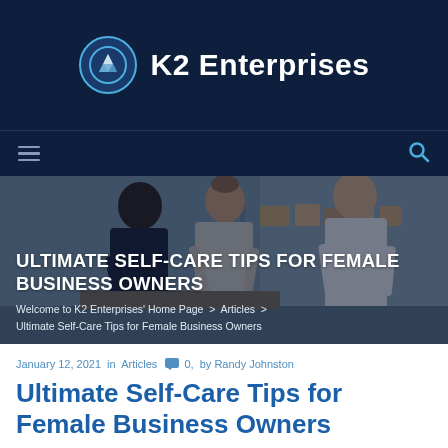K2 Enterprises
[Figure (screenshot): K2 Enterprises website header with dark navy background, circular logo with mountain icon, and site title 'K2 Enterprises' in white bold text. Below is a navigation bar with hamburger menu icon on the left and a search/magnifier icon on the right.]
[Figure (photo): Hero banner photo of a group of business people (two women and a man) working together, overlaid with a dark navy tint. Shows the article title 'ULTIMATE SELF-CARE TIPS FOR FEMALE BUSINESS OWNERS' in bold white uppercase text, and breadcrumb navigation: 'Welcome to K2 Enterprises' Home Page > Articles > Ultimate Self-Care Tips for Female Business Owners'.]
January 12, 2021 in Articles  0,  by Randy Johnston
Ultimate Self-Care Tips for Female Business Owners